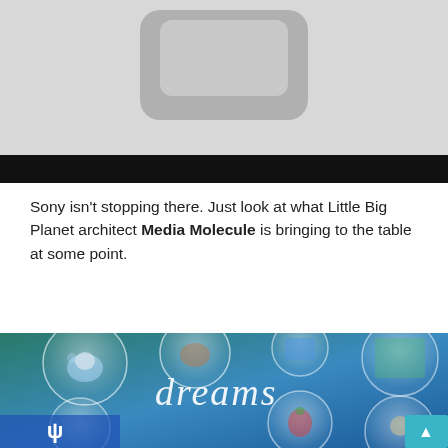[Figure (screenshot): Top portion of a game controller image cropped, with a black bar below it]
Sony isn't stopping there. Just look at what Little Big Planet architect Media Molecule is bringing to the table at some point.
[Figure (photo): Dreams game cover art showing colorful bubbles containing various scenes and characters, with the word 'dreams' written in cursive white script. PlayStation logo visible in bottom left corner. A teal scroll-to-top button in the bottom right corner.]